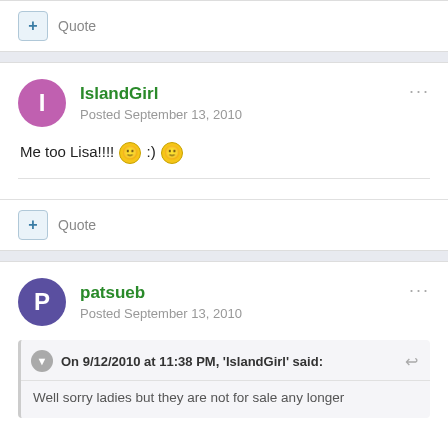Quote
IslandGirl
Posted September 13, 2010
Me too Lisa!!!! :) :)
Quote
patsueb
Posted September 13, 2010
On 9/12/2010 at 11:38 PM, 'IslandGirl' said:
Well sorry ladies but they are not for sale any longer